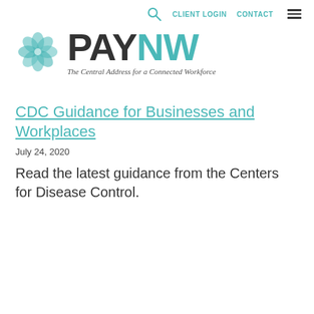CLIENT LOGIN   CONTACT
[Figure (logo): PAYNW logo with teal flower/snowflake icon and text 'PAYNW — The Central Address for a Connected Workforce']
CDC Guidance for Businesses and Workplaces
July 24, 2020
Read the latest guidance from the Centers for Disease Control.